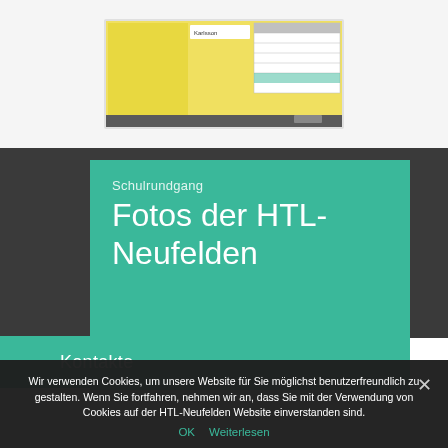[Figure (screenshot): Screenshot of a software application with yellow background, showing a data table/form interface with multiple rows and columns of data, dark header bar at bottom]
Schulrundgang
Fotos der HTL-Neufelden
Kontakte
Wir verwenden Cookies, um unsere Website für Sie möglichst benutzerfreundlich zu gestalten. Wenn Sie fortfahren, nehmen wir an, dass Sie mit der Verwendung von Cookies auf der HTL-Neufelden Website einverstanden sind.
OK   Weiterlesen